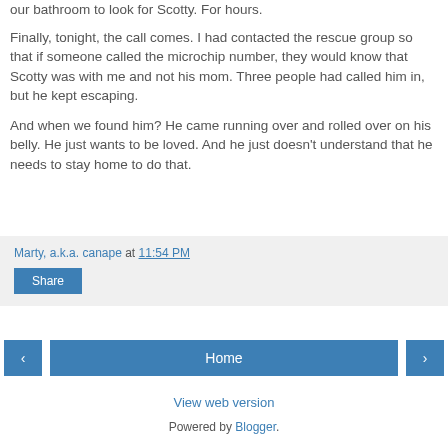our bathroom to look for Scotty. For hours.
Finally, tonight, the call comes. I had contacted the rescue group so that if someone called the microchip number, they would know that Scotty was with me and not his mom. Three people had called him in, but he kept escaping.
And when we found him? He came running over and rolled over on his belly. He just wants to be loved. And he just doesn't understand that he needs to stay home to do that.
Marty, a.k.a. canape at 11:54 PM
Share
Home | View web version | Powered by Blogger.